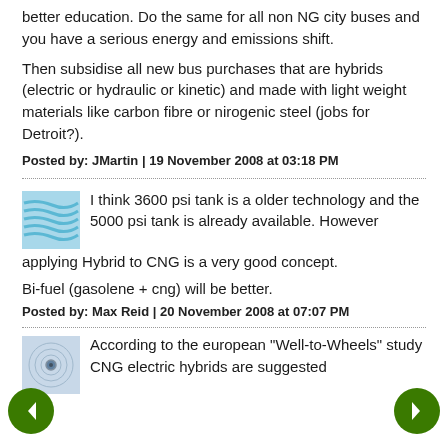better education. Do the same for all non NG city buses and you have a serious energy and emissions shift.
Then subsidise all new bus purchases that are hybrids (electric or hydraulic or kinetic) and made with light weight materials like carbon fibre or nirogenic steel (jobs for Detroit?).
Posted by: JMartin | 19 November 2008 at 03:18 PM
[Figure (illustration): Blue wavy lines avatar icon]
I think 3600 psi tank is a older technology and the 5000 psi tank is already available. However applying Hybrid to CNG is a very good concept.
Bi-fuel (gasolene + cng) will be better.
Posted by: Max Reid | 20 November 2008 at 07:07 PM
[Figure (illustration): Circular pattern avatar icon]
According to the european "Well-to-Wheels" study CNG electric hybrids are suggested